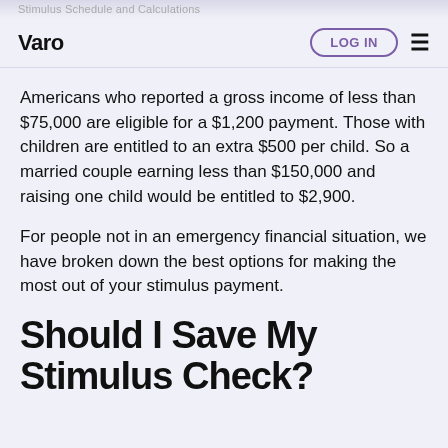Varo
Americans who reported a gross income of less than $75,000 are eligible for a $1,200 payment. Those with children are entitled to an extra $500 per child. So a married couple earning less than $150,000 and raising one child would be entitled to $2,900.
For people not in an emergency financial situation, we have broken down the best options for making the most out of your stimulus payment.
Should I Save My Stimulus Check?